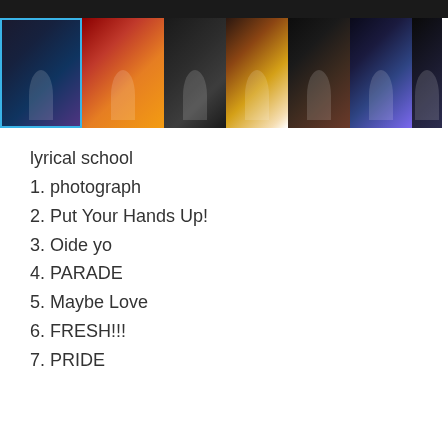[Figure (photo): Dark concert photo strip partially visible at top of page]
[Figure (photo): Row of 7 concert thumbnail photos showing performers on stage with colorful stage lighting. First thumbnail has blue selection border.]
lyrical school
1. photograph
2. Put Your Hands Up!
3. Oide yo
4. PARADE
5. Maybe Love
6. FRESH!!!
7. PRIDE